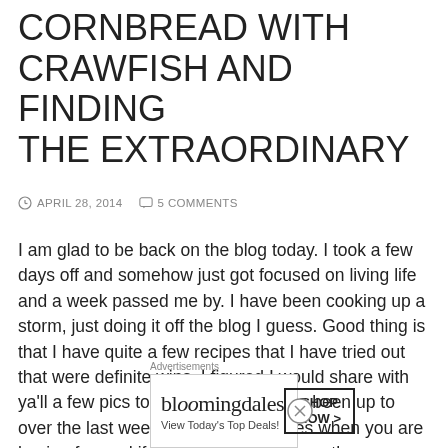CORNBREAD WITH CRAWFISH AND FINDING THE EXTRAORDINARY
APRIL 28, 2014   5 COMMENTS
I am glad to be back on the blog today.  I took a few days off and somehow just got focused on living life and a week passed me by.  I have been cooking up a storm, just doing it off the blog I guess.  Good thing is that I have quite a few recipes that I have tried out that were definite wins.  I figured I would share with ya'll a few pics to show what we have been up to over the last week.  They say time flies when you are having fun and if that is indeed the case then we have been blowing up the fun
[Figure (infographic): Bloomingdale's advertisement banner: logo, 'View Today's Top Deals!' tagline, woman in hat photo, 'SHOP NOW >' button]